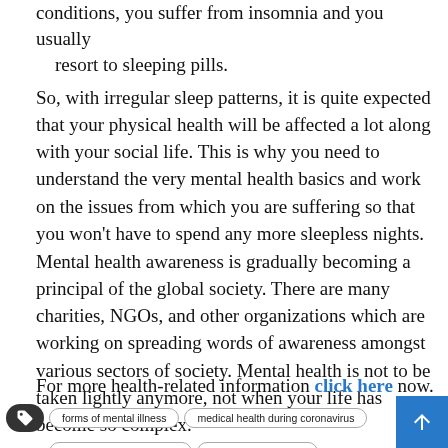conditions, you suffer from insomnia and you usually resort to sleeping pills.
So, with irregular sleep patterns, it is quite expected that your physical health will be affected a lot along with your social life. This is why you need to understand the very mental health basics and work on the issues from which you are suffering so that you won't have to spend any more sleepless nights.
Mental health awareness is gradually becoming a principal of the global society. There are many charities, NGOs, and other organizations which are working on spreading words of awareness amongst various sectors of society. Mental health is not to be taken lightly anymore, not when your life has become so complex.
For more health-related information click here now.
forms of mental illness | medical health during coronavirus | mental health awareness | mental health basics